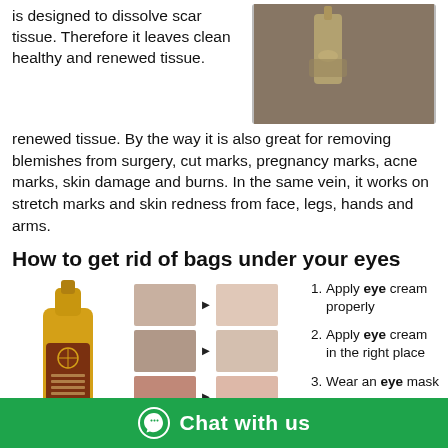is designed to dissolve scar tissue. Therefore it leaves clean healthy and renewed tissue. By the way it is also great for removing blemishes from surgery, cut marks, pregnancy marks, acne marks, skin damage and burns. In the same vein, it works on stretch marks and skin redness from face, legs, hands and arms.
[Figure (photo): Close-up photo of a dropper or serum bottle being held]
How to get rid of bags under your eyes
[Figure (photo): Gold eye cream / ointment product tube (AUNER brand)]
[Figure (photo): Before and after comparison photos of skin treatments in 5 rows]
Apply eye cream properly
Apply eye cream in the right place
Wear an eye mask
sunglasses and SPF
[Figure (other): Green chat bar with WhatsApp icon: Chat with us]